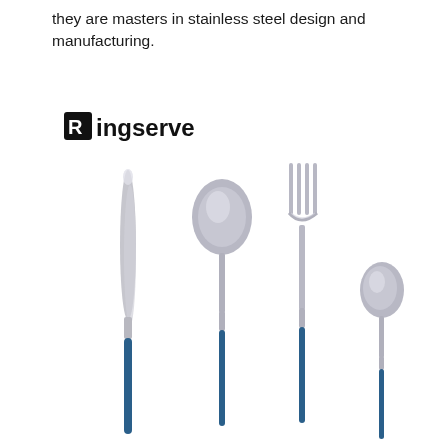they are masters in stainless steel design and manufacturing.
[Figure (logo): Ringserve brand logo in black text with stylized R icon]
[Figure (photo): Four pieces of cutlery with blue handles and stainless steel heads: a dinner knife, a dinner spoon, a dinner fork, and a small teaspoon, arranged left to right]